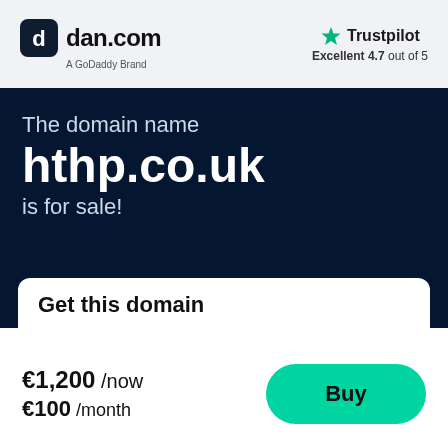[Figure (logo): dan.com logo — rounded square icon with 'G' symbol and text 'dan.com', subtitle 'A GoDaddy Brand']
[Figure (logo): Trustpilot logo with green star icon, 'Trustpilot' text, and 'Excellent 4.7 out of 5' rating]
The domain name
hthp.co.uk
is for sale!
Get this domain
€1,200 /now €100 /month
Buy